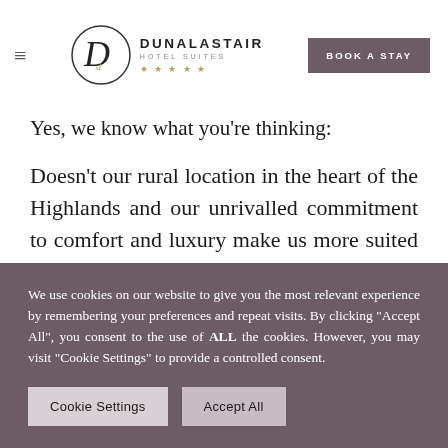≡ DUNALASTAIR HOTEL SUITES ★★★★★ BOOK A STAY
Yes, we know what you're thinking:
Doesn't our rural location in the heart of the Highlands and our unrivalled commitment to comfort and luxury make us more suited to relaxing weekend escapes than fun-filled family
We use cookies on our website to give you the most relevant experience by remembering your preferences and repeat visits. By clicking "Accept All", you consent to the use of ALL the cookies. However, you may visit "Cookie Settings" to provide a controlled consent.
Cookie Settings | Accept All